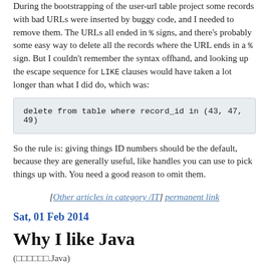During the bootstrapping of the user-url table project some records with bad URLs were inserted by buggy code, and I needed to remove them. The URLs all ended in % signs, and there's probably some easy way to delete all the records where the URL ends in a % sign. But I couldn't remember the syntax offhand, and looking up the escape sequence for LIKE clauses would have taken a lot longer than what I did do, which was:
So the rule is: giving things ID numbers should be the default, because they are generally useful, like handles you can use to pick things up with. You need a good reason to omit them.
[Other articles in category /IT] permanent link
Sat, 01 Feb 2014
Why I like Java
(□□□□□□.Java)